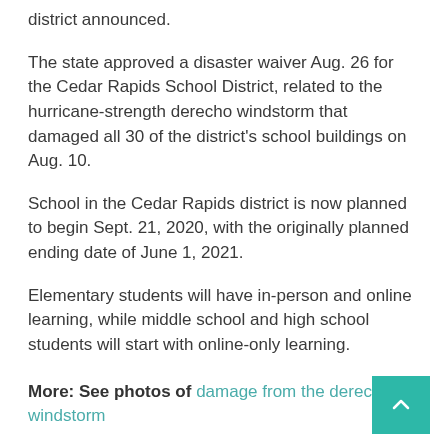district announced.
The state approved a disaster waiver Aug. 26 for the Cedar Rapids School District, related to the hurricane-strength derecho windstorm that damaged all 30 of the district's school buildings on Aug. 10.
School in the Cedar Rapids district is now planned to begin Sept. 21, 2020, with the originally planned ending date of June 1, 2021.
Elementary students will have in-person and online learning, while middle school and high school students will start with online-only learning.
More: See photos of damage from the derecho windstorm